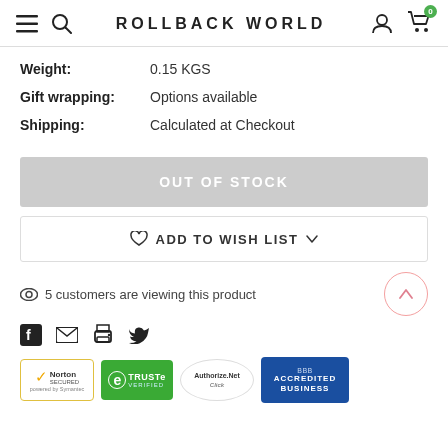ROLLBACK WORLD
| Label | Value |
| --- | --- |
| Weight: | 0.15 KGS |
| Gift wrapping: | Options available |
| Shipping: | Calculated at Checkout |
OUT OF STOCK
ADD TO WISH LIST
5 customers are viewing this product
[Figure (logo): Trust badges: Norton Secured, TRUSTe Verified, Authorize.Net Click, BBB Accredited Business]